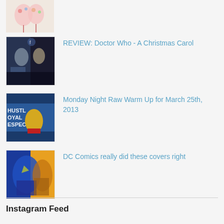[Figure (photo): Partial thumbnail image at top, appears to be a festive/Christmas themed image]
[Figure (photo): Thumbnail of Doctor Who Christmas Carol - people in dark setting]
REVIEW: Doctor Who - A Christmas Carol
[Figure (photo): Thumbnail of wrestler in yellow shirt in front of Hustle Loyalty Respect banner]
Monday Night Raw Warm Up for March 25th, 2013
[Figure (photo): Thumbnail of DC Comics cover art - blue and orange superhero]
DC Comics really did these covers right
Instagram Feed